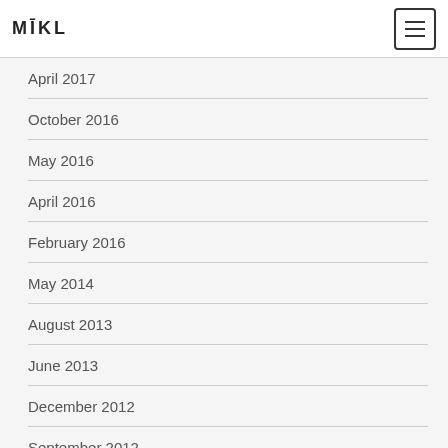MIKL
April 2017
October 2016
May 2016
April 2016
February 2016
May 2014
August 2013
June 2013
December 2012
September 2012